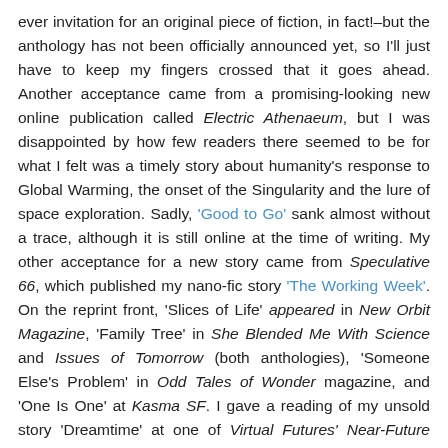ever invitation for an original piece of fiction, in fact!–but the anthology has not been officially announced yet, so I'll just have to keep my fingers crossed that it goes ahead. Another acceptance came from a promising-looking new online publication called Electric Athenaeum, but I was disappointed by how few readers there seemed to be for what I felt was a timely story about humanity's response to Global Warming, the onset of the Singularity and the lure of space exploration. Sadly, 'Good to Go' sank almost without a trace, although it is still online at the time of writing. My other acceptance for a new story came from Speculative 66, which published my nano-fic story 'The Working Week'. On the reprint front, 'Slices of Life' appeared in New Orbit Magazine, 'Family Tree' in She Blended Me With Science and Issues of Tomorrow (both anthologies), 'Someone Else's Problem' in Odd Tales of Wonder magazine, and 'One Is One' at Kasma SF. I gave a reading of my unsold story 'Dreamtime' at one of Virtual Futures' Near-Future Fictions events and the Flash Fiction Podcast recorded a version of the second of my 'Reeves' stories, 'Warbling Their Way to War'.

During 2018, I sought to find a home for my 'Survival Strategies' novel. No luck so far, but Book 2 is now under way. I think it might easier to